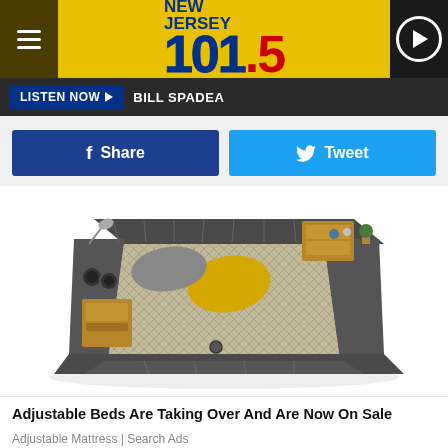NEW JERSEY 101.5
LISTEN NOW ► BILL SPADEA
f Share   Tweet
[Figure (photo): A large modern multifunctional bed with dark gray upholstery, built-in storage drawers, shelving with decorative items, speakers, a reading lamp, and a patterned mattress with a yellow pillow.]
Adjustable Beds Are Taking Over And Are Now On Sale
Adjustable Mattress | Search Ads